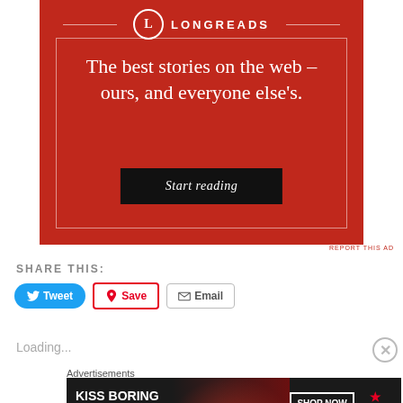[Figure (advertisement): Longreads advertisement banner on red background with tagline 'The best stories on the web – ours, and everyone else's.' and a 'Start reading' button]
REPORT THIS AD
SHARE THIS:
Tweet  Save  Email
Loading...
Advertisements
[Figure (advertisement): Macy's advertisement: KISS BORING LIPS GOODBYE with SHOP NOW button and Macy's star logo]